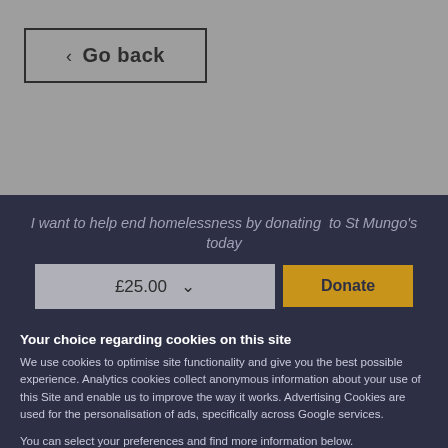< Go back
I want to help end homelessness by donating  to St Mungo's today
£25.00 ∨    Donate
Your choice regarding cookies on this site
We use cookies to optimise site functionality and give you the best possible experience. Analytics cookies collect anonymous information about your use of this Site and enable us to improve the way it works. Advertising Cookies are used for the personalisation of ads, specifically across Google services.
You can select your preferences and find more information below.
Accept
Reject
Cookie Preferences